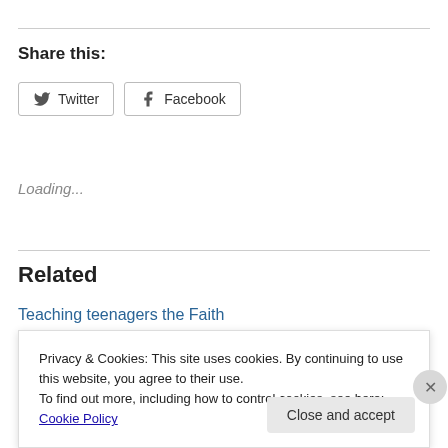Share this:
[Figure (screenshot): Twitter and Facebook share buttons]
Loading...
Related
Teaching teenagers the Faith
July 23, 2010
Privacy & Cookies: This site uses cookies. By continuing to use this website, you agree to their use.
To find out more, including how to control cookies, see here: Cookie Policy
Close and accept